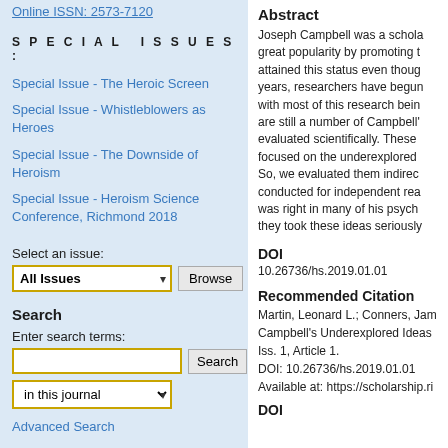Online ISSN: 2573-7120
SPECIAL ISSUES:
Special Issue - The Heroic Screen
Special Issue - Whistleblowers as Heroes
Special Issue - The Downside of Heroism
Special Issue - Heroism Science Conference, Richmond 2018
Select an issue:
All Issues [dropdown] Browse
Search
Enter search terms:
[search input] Search
in this journal [dropdown]
Advanced Search
ISSN: 2573-7120
Abstract
Joseph Campbell was a schola great popularity by promoting t attained this status even thoug years, researchers have begun with most of this research bein are still a number of Campbell' evaluated scientifically. These focused on the underexplored So, we evaluated them indirec conducted for independent rea was right in many of his psych they took these ideas seriously
DOI
10.26736/hs.2019.01.01
Recommended Citation
Martin, Leonard L.; Conners, Jam Campbell's Underexplored Ideas Iss. 1, Article 1.
DOI: 10.26736/hs.2019.01.01
Available at: https://scholarship.ri
DOI